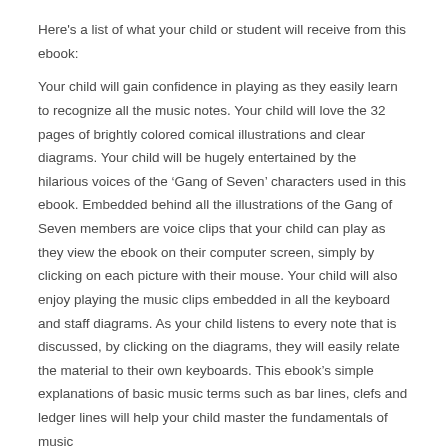Here's a list of what your child or student will receive from this ebook:
Your child will gain confidence in playing as they easily learn to recognize all the music notes. Your child will love the 32 pages of brightly colored comical illustrations and clear diagrams. Your child will be hugely entertained by the hilarious voices of the ‘Gang of Seven’ characters used in this ebook. Embedded behind all the illustrations of the Gang of Seven members are voice clips that your child can play as they view the ebook on their computer screen, simply by clicking on each picture with their mouse. Your child will also enjoy playing the music clips embedded in all the keyboard and staff diagrams. As your child listens to every note that is discussed, by clicking on the diagrams, they will easily relate the material to their own keyboards. This ebook’s simple explanations of basic music terms such as bar lines, clefs and ledger lines will help your child master the fundamentals of music